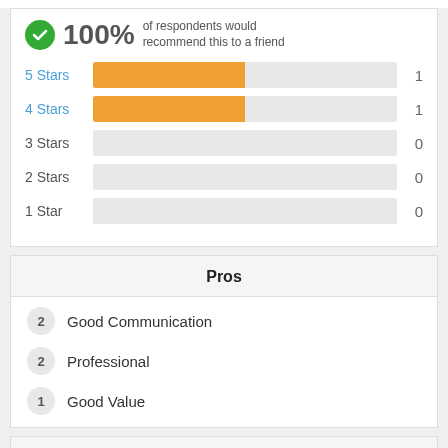[Figure (bar-chart): 100% of respondents would recommend this to a friend]
Pros
2  Good Communication
2  Professional
1  Good Value
Cons